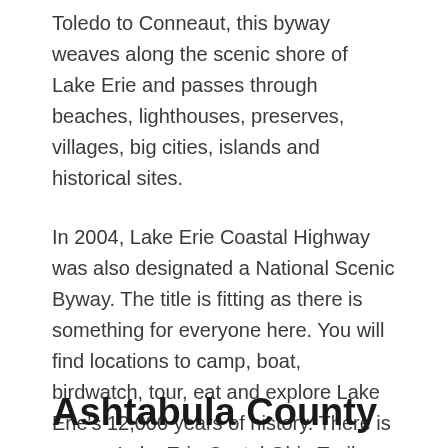Toledo to Conneaut, this byway weaves along the scenic shore of Lake Erie and passes through beaches, lighthouses, preserves, villages, big cities, islands and historical sites.
In 2004, Lake Erie Coastal Highway was also designated a National Scenic Byway. The title is fitting as there is something for everyone here. You will find locations to camp, boat, birdwatch, tour, eat and explore Lake Erie's 12,000 years of history. There is even a Lake Erie Costal Ohio Trail mobile app to help you make the best of your visit.
Ashtabula County